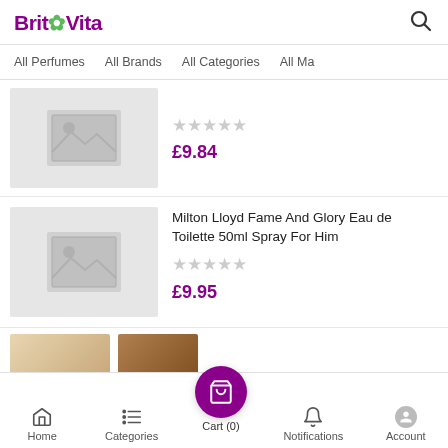BritVita
All Perfumes   All Brands   All Categories   All Ma
[Figure (screenshot): Product image placeholder (grey box with mountain/image icon) for first product]
★★★★★  £9.84
[Figure (screenshot): Product image placeholder (grey box with mountain/image icon) for Milton Lloyd Fame And Glory]
Milton Lloyd Fame And Glory Eau de Toilette 50ml Spray For Him
★★★★★
£9.95
Home   Categories   Cart (0)   Notifications   Account